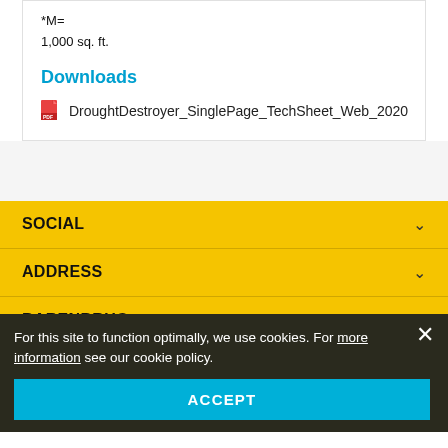*M=
1,000 sq. ft.
Downloads
DroughtDestroyer_SinglePage_TechSheet_Web_2020
SOCIAL
ADDRESS
BARENBRUG
WEBSITE
For this site to function optimally, we use cookies. For more information see our cookie policy.
ACCEPT